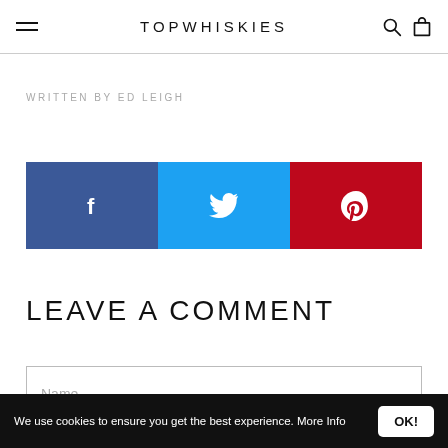TOPWHISKIES
WRITTEN BY ED LEIGH
[Figure (infographic): Social share buttons: Facebook (blue), Twitter (cyan), Pinterest (red)]
LEAVE A COMMENT
Name
We use cookies to ensure you get the best experience. More Info  OK!